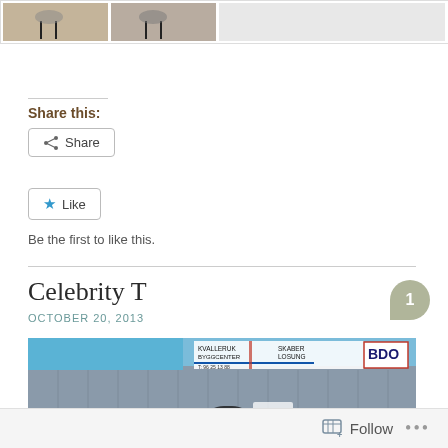[Figure (photo): Two horse photos side by side in a bordered strip at the top of the page]
Share this:
Share
Like
Be the first to like this.
Celebrity T
OCTOBER 20, 2013
[Figure (photo): Blurry photo showing a banner sign with BDO logo and blue/grey building in the background with a dark figure at bottom]
Follow ...